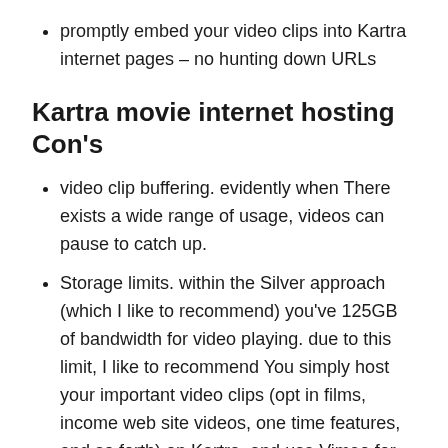promptly embed your video clips into Kartra internet pages – no hunting down URLs
Kartra movie internet hosting Con's
video clip buffering. evidently when There exists a wide range of usage, videos can pause to catch up.
Storage limits. within the Silver approach (which I like to recommend) you've 125GB of bandwidth for video playing. due to this limit, I like to recommend You simply host your important video clips (opt in films, income web site videos, one time features, and so forth) on Kartra, and use Vimeo for just about